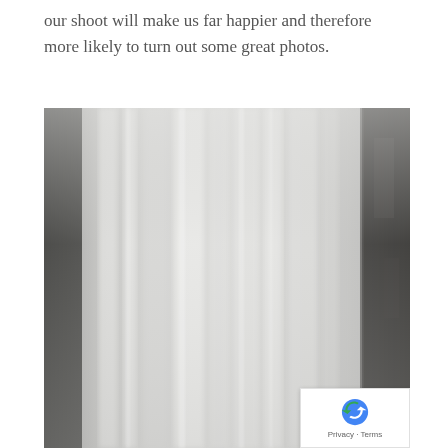our shoot will make us far happier and therefore more likely to turn out some great photos.
[Figure (photo): A long-exposure photograph of a waterfall, showing silky smooth flowing water in shades of white and grey with dark rocky edges visible on the sides.]